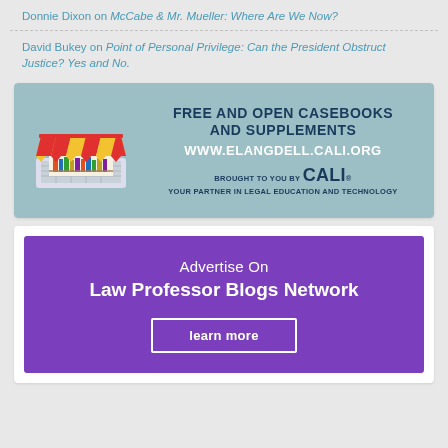Donnie Dixon on McCabe & Mr. Mueller: Where Are We Now?
David Bukey on Point of Personal Privilege: Can the President Obstruct Justice? Yes and No.
[Figure (illustration): CALI advertisement banner: Free and Open Casebooks and Supplements, www.elangdell.cali.org, Brought to you by CALI - Your Partner in Legal Education and Technology, with a cartoon bookstore/laptop graphic]
[Figure (illustration): Purple advertisement banner: Advertise On Law Professor Blogs Network, with a learn more button]